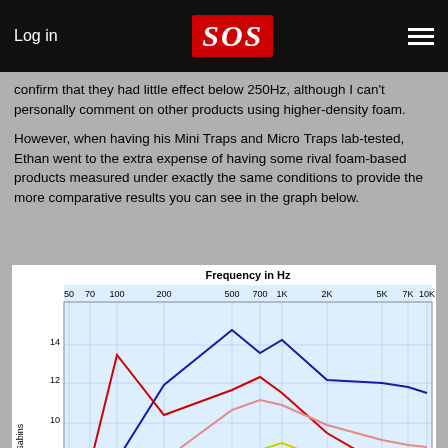Log in | SOS
confirm that they had little effect below 250Hz, although I can't personally comment on other products using higher-density foam.
However, when having his Mini Traps and Micro Traps lab-tested, Ethan went to the extra expense of having some rival foam-based products measured under exactly the same conditions to provide the more comparative results you can see in the graph below.
[Figure (continuous-plot): Line chart titled 'Frequency in Hz' showing Absorption in Sabins on the y-axis (values around 6-14 visible) versus frequency on the x-axis (50, 70, 100, 200, 500, 700, 1K, 2K, 5K, 7K, 10K Hz). Multiple colored lines (dark blue, red, pink, yellow, black, green) show absorption curves for different acoustic treatment products across the frequency range.]